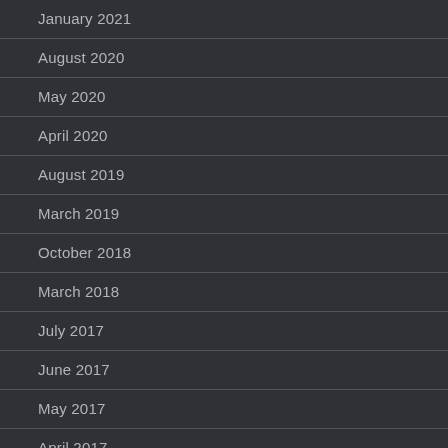January 2021
August 2020
May 2020
April 2020
August 2019
March 2019
October 2018
March 2018
July 2017
June 2017
May 2017
April 2017